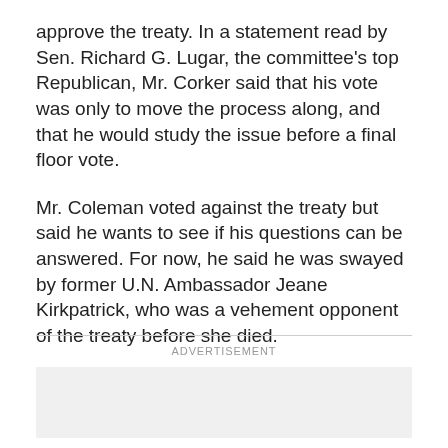approve the treaty. In a statement read by Sen. Richard G. Lugar, the committee's top Republican, Mr. Corker said that his vote was only to move the process along, and that he would study the issue before a final floor vote.
Mr. Coleman voted against the treaty but said he wants to see if his questions can be answered. For now, he said he was swayed by former U.N. Ambassador Jeane Kirkpatrick, who was a vehement opponent of the treaty before she died.
ADVERTISEMENT